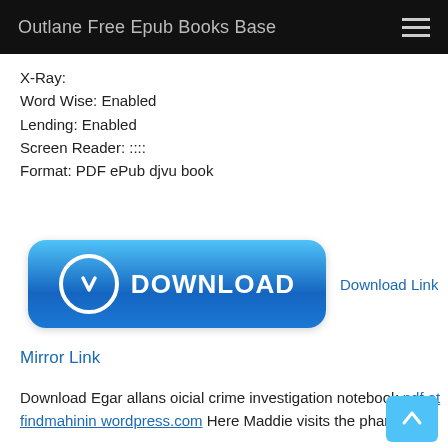Outlane Free Epub Books Base
X-Ray:
Word Wise: Enabled
Lending: Enabled
Screen Reader: ::::
Format: PDF ePub djvu book
[Figure (illustration): Blue download button with arrow icon and text DOWNLOAD]
Download Link
Mirror Link
Download Egar allans oicial crime investigation notebook pdf at findmahinin wordpress.com Here Maddie visits the pharmacist